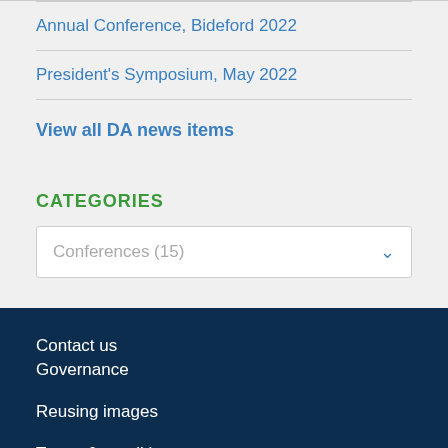Annual Conference, Bideford 2022
President's Symposium, May 2022
View all DA news items
CATEGORIES
Conferences  (15)
Contact us
Governance
Reusing images
Terms & conditions
Website privacy policy